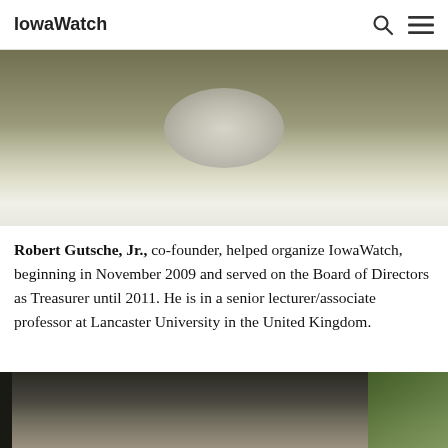IowaWatch
[Figure (photo): Partial photo of person, blurred/cropped at top of page]
Robert Gutsche, Jr., co-founder, helped organize IowaWatch, beginning in November 2009 and served on the Board of Directors as Treasurer until 2011. He is in a senior lecturer/associate professor at Lancaster University in the United Kingdom.
[Figure (photo): Partial photo of a person with brown hair, partially visible at bottom of page]